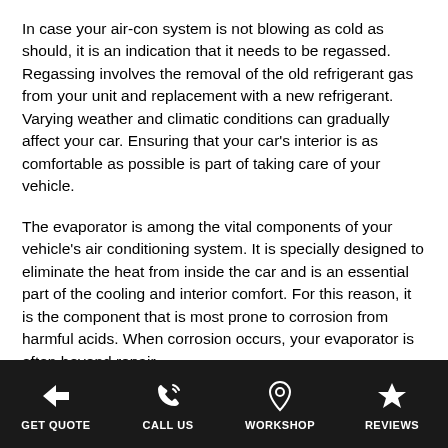In case your air-con system is not blowing as cold as should, it is an indication that it needs to be regassed. Regassing involves the removal of the old refrigerant gas from your unit and replacement with a new refrigerant. Varying weather and climatic conditions can gradually affect your car. Ensuring that your car's interior is as comfortable as possible is part of taking care of your vehicle.
The evaporator is among the vital components of your vehicle's air conditioning system. It is specially designed to eliminate the heat from inside the car and is an essential part of the cooling and interior comfort. For this reason, it is the component that is most prone to corrosion from harmful acids. When corrosion occurs, your evaporator is often beyond repair.
GET QUOTE | CALL US | WORKSHOP | REVIEWS